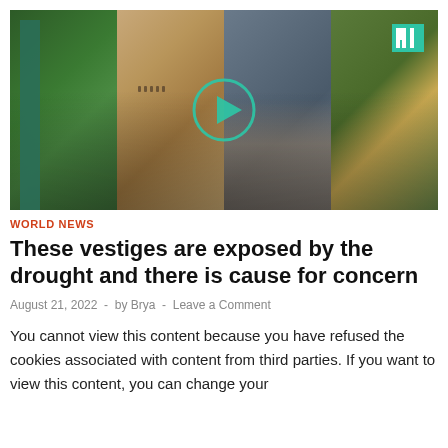[Figure (photo): A collage of four landscape/drone photos showing drought-affected areas: green river landscape, dried riverbed with people walking on cracked earth, ruined stone buildings exposed by drought with a play button overlay, and a green/brown agricultural field. HuffPost logo visible top right.]
WORLD NEWS
These vestiges are exposed by the drought and there is cause for concern
August 21, 2022  -  by Brya  -  Leave a Comment
You cannot view this content because you have refused the cookies associated with content from third parties. If you want to view this content, you can change your